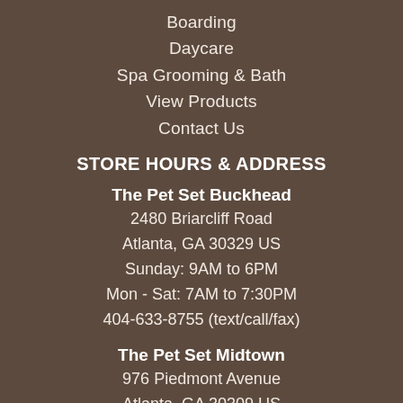Boarding
Daycare
Spa Grooming & Bath
View Products
Contact Us
STORE HOURS & ADDRESS
The Pet Set Buckhead
2480 Briarcliff Road
Atlanta, GA 30329 US
Sunday: 9AM to 6PM
Mon - Sat: 7AM to 7:30PM
404-633-8755 (text/call/fax)
The Pet Set Midtown
976 Piedmont Avenue
Atlanta, GA 30309 US